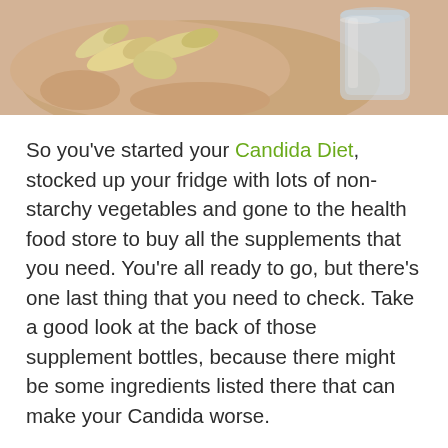[Figure (photo): Close-up photo of a hand holding multiple supplement capsules/pills with a glass of water in the background]
So you've started your Candida Diet, stocked up your fridge with lots of non-starchy vegetables and gone to the health food store to buy all the supplements that you need. You're all ready to go, but there's one last thing that you need to check. Take a good look at the back of those supplement bottles, because there might be some ingredients listed there that can make your Candida worse.
The trouble is that very few supplements are made specifically for Candida sufferers. So for